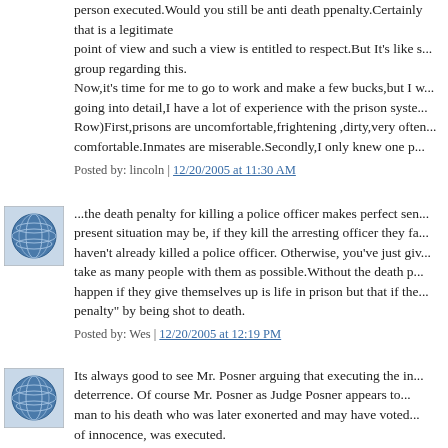person executed.Would you still be anti death ppenalty.Certainly that is a legitimate point of view and such a view is entitled to respect.But It's like s... group regarding this.
Now,it's time for me to go to work and make a few bucks,but I w... going into detail,I have a lot of experience with the prison syste... Row)First,prisons are uncomfortable,frightening ,dirty,very often... comfortable.Inmates are miserable.Secondly,I only knew one p...
Posted by: lincoln | 12/20/2005 at 11:30 AM
[Figure (illustration): Blue circular globe/sphere icon avatar]
...the death penalty for killing a police officer makes perfect sen... present situation may be, if they kill the arresting officer they fa... haven't already killed a police officer. Otherwise, you've just giv... take as many people with them as possible.Without the death p... happen if they give themselves up is life in prison but that if the... penalty" by being shot to death.
Posted by: Wes | 12/20/2005 at 12:19 PM
[Figure (illustration): Blue circular globe/sphere icon avatar]
Its always good to see Mr. Posner arguing that executing the in... deterrence. Of course Mr. Posner as Judge Posner appears to... man to his death who was later exonerted and may have voted... of innocence, was executed.
Of course, deterrence studies are widely reviewed as bunk ano... chosing a dataset that gets you the result you desire. Donohue... Abuses of Empirical Evidence in the Death Penalty Debate". . S...